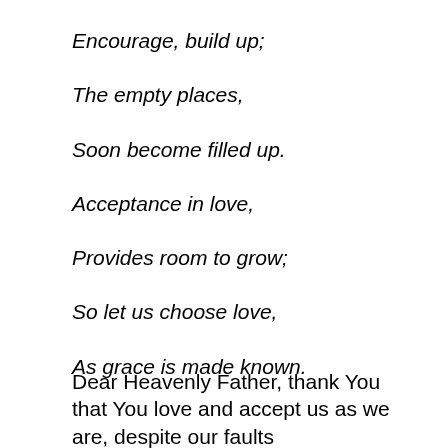Encourage, build up;
The empty places,
Soon become filled up.
Acceptance in love,
Provides room to grow;
So let us choose love,
As grace is made known.
Dear Heavenly Father, thank You that You love and accept us as we are, despite our faults